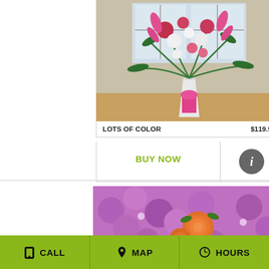[Figure (photo): Flower arrangement in white vase with pink roses, white flowers, and greenery with a pink ribbon, placed in a room with windows]
LOTS OF COLOR    $119.99
BUY NOW
[Figure (photo): Close-up of colorful flower arrangement with orange roses and pink/purple flowers]
CALL   MAP   HOURS